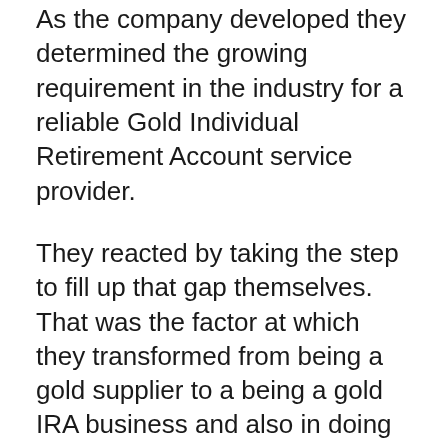As the company developed they determined the growing requirement in the industry for a reliable Gold Individual Retirement Account service provider.
They reacted by taking the step to fill up that gap themselves. That was the factor at which they transformed from being a gold supplier to a being a gold IRA business and also in doing so they identified the requirement to alter their name to something that represented extra the service they were supplying.
They changed their name, to Heritage Gold Group. That was short lived nonetheless because they quickly uncovered that a business called Heritage Public auctions had